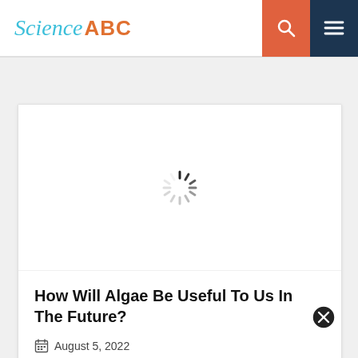Science ABC
[Figure (other): Loading spinner (circular dashed spinner icon) over a white image placeholder area]
How Will Algae Be Useful To Us In The Future?
August 5, 2022